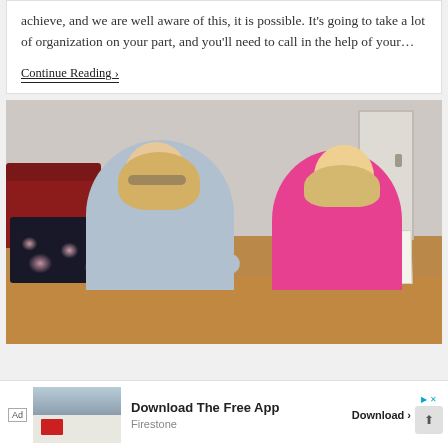achieve, and we are well aware of this, it is possible. It's going to take a lot of organization on your part, and you'll need to call in the help of your…
Continue Reading ›
[Figure (photo): A woman with glasses and long blonde hair wearing a grey sweater sits with a child in a pink sweater at a wooden table. They are looking at a laptop with a floral case and a notebook. A red sofa and door are visible in the background.]
Ad  Download The Free App  Firestone  Download ›